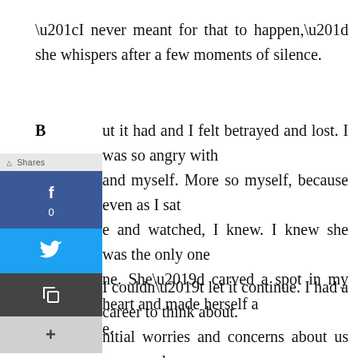“I never meant for that to happen,” she whispers after a few moments of silence.
But it had and I felt betrayed and lost. I was so angry with her and myself. More so myself, because even as I sat there and watched, I knew. I knew she was the only one for me. She’d carved a spot in my heart and made herself a home.
I couldn’t let it continue. I had a career to think about. My initial worries and concerns about us as a couple were nothing compared to the truth that faced me. I broke things off right away.
Now here we are again. Chloe is a brilliant young woman at twenty-five. She has so much going for her future. I won’t ask her to throw it all away and I’ve yet to tell my father that I don’t want to follow the path he has placed before